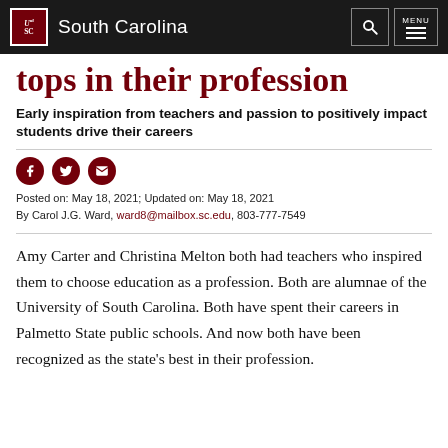South Carolina
tops in their profession
Early inspiration from teachers and passion to positively impact students drive their careers
Posted on: May 18, 2021; Updated on: May 18, 2021
By Carol J.G. Ward, ward8@mailbox.sc.edu, 803-777-7549
Amy Carter and Christina Melton both had teachers who inspired them to choose education as a profession. Both are alumnae of the University of South Carolina. Both have spent their careers in Palmetto State public schools. And now both have been recognized as the state’s best in their profession.